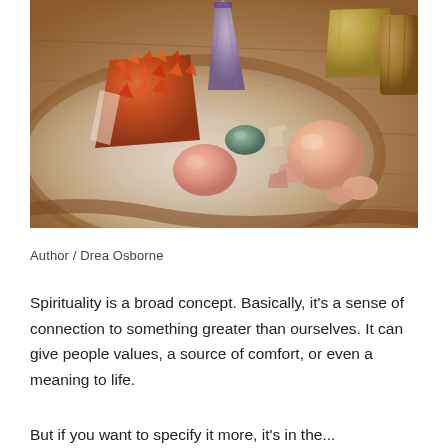[Figure (photo): Close-up photo of various crystals and gemstones arranged on a wooden slice board. Includes an orange/red druzy crystal cluster, tumbled pink/red stones, teal and beige small stones, a large peach/orange sphere, an amethyst tower, and a green/brown rectangular stone in the background. Warm brown tones throughout.]
Author / Drea Osborne
Spirituality is a broad concept. Basically, it's a sense of connection to something greater than ourselves. It can give people values, a source of comfort, or even a meaning to life.
But if you want to specify it more, it's in the...